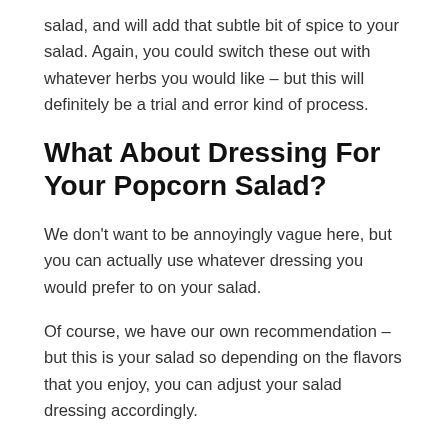salad, and will add that subtle bit of spice to your salad. Again, you could switch these out with whatever herbs you would like – but this will definitely be a trial and error kind of process.
What About Dressing For Your Popcorn Salad?
We don't want to be annoyingly vague here, but you can actually use whatever dressing you would prefer to on your salad.
Of course, we have our own recommendation – but this is your salad so depending on the flavors that you enjoy, you can adjust your salad dressing accordingly.